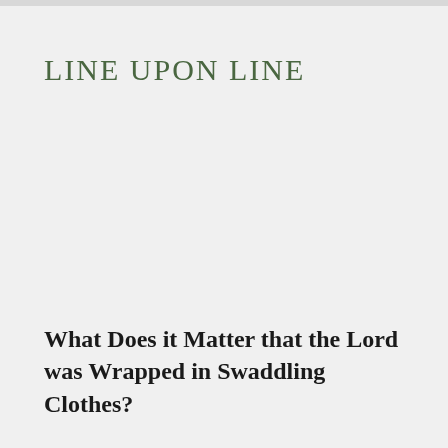LINE UPON LINE
What Does it Matter that the Lord was Wrapped in Swaddling Clothes?